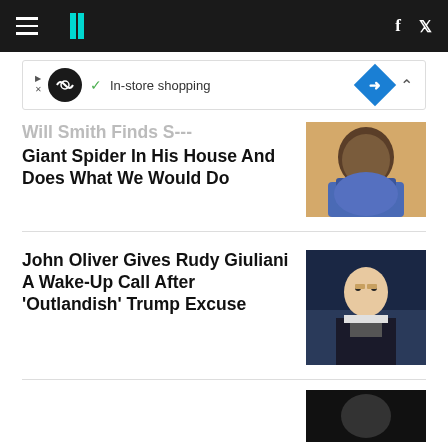HuffPost navigation bar with hamburger menu, logo, Facebook and Twitter icons
[Figure (screenshot): In-store shopping advertisement banner with circular logo and blue diamond icon]
Will Smith Finds Giant Spider In His House And Does What We Would Do
[Figure (photo): Photo of Will Smith wearing a blue patterned shirt, smiling with a goatee]
John Oliver Gives Rudy Giuliani A Wake-Up Call After 'Outlandish' Trump Excuse
[Figure (photo): Photo of John Oliver in suit and tie at a desk, glasses, dark studio background]
[Figure (photo): Partial photo at bottom right, dark background]